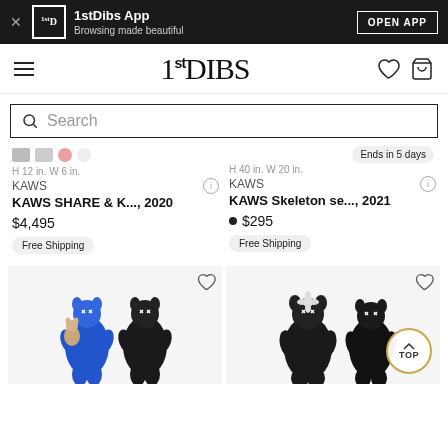1stDibs App — Browsing made beautiful — OPEN APP
1stDIBS
Search
Ends in 5 days
H 12 in. W 6 in.
KAWS
KAWS SHARE & K..., 2020
$4,495
Free Shipping
H 40 in. W 20 in.
KAWS
KAWS Skeleton se..., 2021
$295
Free Shipping
[Figure (photo): KAWS figurines — blue and black character sculptures on left cell]
[Figure (photo): KAWS black figurine sculptures on right cell]
TOP